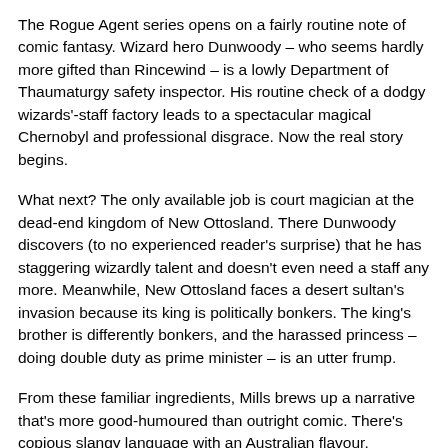The Rogue Agent series opens on a fairly routine note of comic fantasy. Wizard hero Dunwoody – who seems hardly more gifted than Rincewind – is a lowly Department of Thaumaturgy safety inspector. His routine check of a dodgy wizards'-staff factory leads to a spectacular magical Chernobyl and professional disgrace. Now the real story begins.
What next? The only available job is court magician at the dead-end kingdom of New Ottosland. There Dunwoody discovers (to no experienced reader's surprise) that he has staggering wizardly talent and doesn't even need a staff any more. Meanwhile, New Ottosland faces a desert sultan's invasion because its king is politically bonkers. The king's brother is differently bonkers, and the harassed princess – doing double duty as prime minister – is an utter frump.
From these familiar ingredients, Mills brews up a narrative that's more good-humoured than outright comic. There's copious slangy language with an Australian flavour, especially from our hero's sidekick Reg – a talking female bird whose ancient, mysterious origins naturally cause her to address royalty as "ducky" or "sunshine".
Of course New Ottosland is cram-full of secrets and lies. Dunwoody does eventually get around to wondering what happened to the five major wizards who previously occupied his position, but by then it may be too late. The climactic action is painful, violent and not even slightly